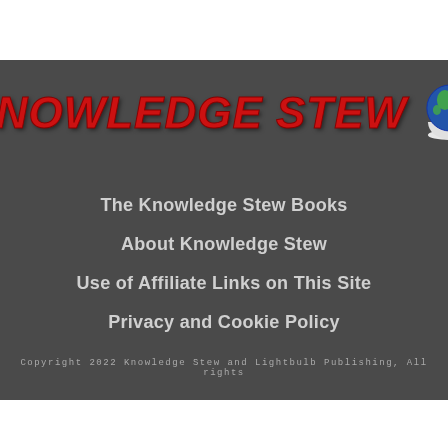[Figure (logo): Knowledge Stew logo with red bold italic text and a globe with bowl icon]
The Knowledge Stew Books
About Knowledge Stew
Use of Affiliate Links on This Site
Privacy and Cookie Policy
Copyright 2022 Knowledge Stew and Lightbulb Publishing, All rights